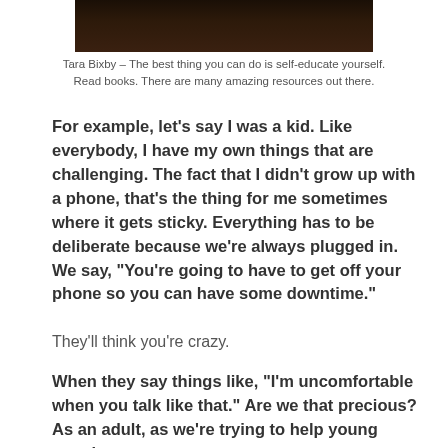[Figure (photo): Partial photo showing dark background, bottom portion of an image cut off at top of page]
Tara Bixby – The best thing you can do is self-educate yourself. Read books. There are many amazing resources out there.
For example, let's say I was a kid. Like everybody, I have my own things that are challenging. The fact that I didn't grow up with a phone, that's the thing for me sometimes where it gets sticky. Everything has to be deliberate because we're always plugged in. We say, “You're going to have to get off your phone so you can have some downtime.”
They’ll think you’re crazy.
When they say things like, “I’m uncomfortable when you talk like that.” Are we that precious? As an adult, as we’re trying to help young people